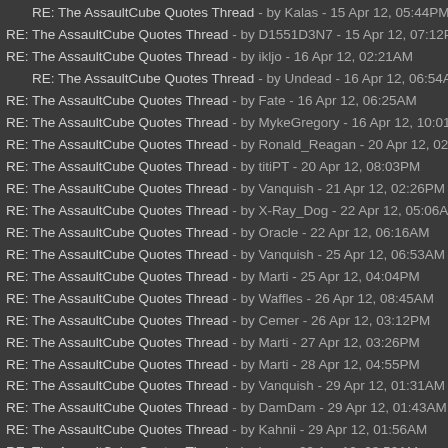RE: The AssaultCube Quotes Thread - by Kalas - 15 Apr 12, 05:44PM
RE: The AssaultCube Quotes Thread - by D1551D3N7 - 15 Apr 12, 07:12PM
RE: The AssaultCube Quotes Thread - by ikljo - 16 Apr 12, 02:21AM
RE: The AssaultCube Quotes Thread - by Undead - 16 Apr 12, 06:54AM
RE: The AssaultCube Quotes Thread - by Fate - 16 Apr 12, 06:25AM
RE: The AssaultCube Quotes Thread - by MykeGregory - 16 Apr 12, 10:01AM
RE: The AssaultCube Quotes Thread - by Ronald_Reagan - 20 Apr 12, 02:10AM
RE: The AssaultCube Quotes Thread - by titiPT - 20 Apr 12, 08:03PM
RE: The AssaultCube Quotes Thread - by Vanquish - 21 Apr 12, 02:26PM
RE: The AssaultCube Quotes Thread - by X-Ray_Dog - 22 Apr 12, 05:06AM
RE: The AssaultCube Quotes Thread - by Oracle - 22 Apr 12, 06:16AM
RE: The AssaultCube Quotes Thread - by Vanquish - 25 Apr 12, 06:53AM
RE: The AssaultCube Quotes Thread - by Marti - 25 Apr 12, 04:04PM
RE: The AssaultCube Quotes Thread - by Waffles - 26 Apr 12, 08:45AM
RE: The AssaultCube Quotes Thread - by Cemer - 26 Apr 12, 03:12PM
RE: The AssaultCube Quotes Thread - by Marti - 27 Apr 12, 03:26PM
RE: The AssaultCube Quotes Thread - by Marti - 28 Apr 12, 04:55PM
RE: The AssaultCube Quotes Thread - by Vanquish - 29 Apr 12, 01:31AM
RE: The AssaultCube Quotes Thread - by DamDam - 29 Apr 12, 01:43AM
RE: The AssaultCube Quotes Thread - by Kahnii - 29 Apr 12, 01:56AM
RE: The AssaultCube Quotes Thread - by jamz - 29 Apr 12, 08:56AM
RE: The AssaultCube Quotes Thread - by paulmuaddibKA - 01 May 12, 04:10PM
RE: The AssaultCube Quotes Thread - by Cemer - 03 May 12, 02:47AM
RE: The AssaultCube Quotes Thread - by jamz - 03 May 12, 10:33AM